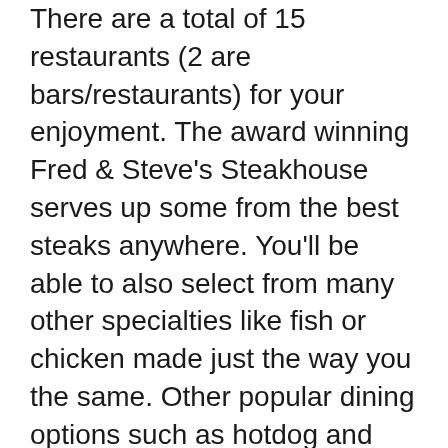There are a total of 15 restaurants (2 are bars/restaurants) for your enjoyment. The award winning Fred & Steve's Steakhouse serves up some from the best steaks anywhere. You'll be able to also select from many other specialties like fish or chicken made just the way you the same. Other popular dining options such as hotdog and some fresh cut fries at Nathan's, coffee and a tasty donut at Dunkin Donuts, American fare at Johnny Rockets and a little bit of other foods at the Twin Heart Buffet.
One of the very important factors to me was defense. I wanted to make sure my information and money was secure and protected. After doing some pretty extensive research I am choosing to try Rushmore